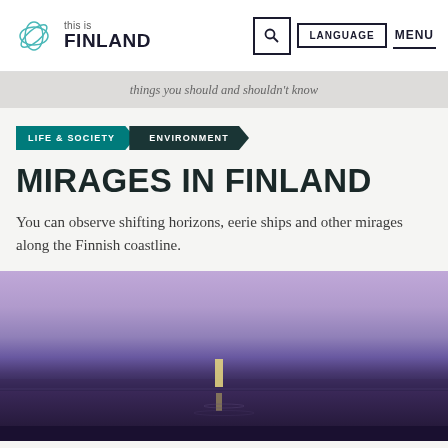this is FINLAND | LANGUAGE | MENU
things you should and shouldn't know
LIFE & SOCIETY
ENVIRONMENT
MIRAGES IN FINLAND
You can observe shifting horizons, eerie ships and other mirages along the Finnish coastline.
[Figure (photo): A purple-hued photo of a coastal mirage scene with a faint vertical light structure reflected on dark water, shot at dusk along the Finnish coastline.]